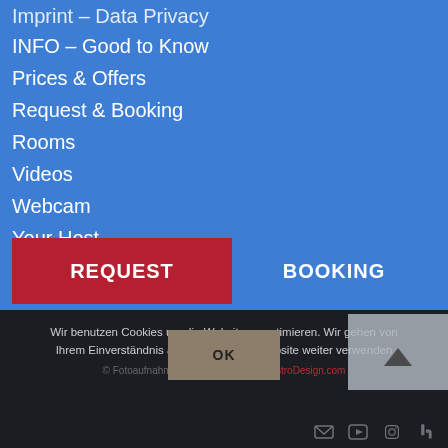Imprint – Data Privacy
INFO – Good to Know
Prices & Offers
Request & Booking
Rooms
Videos
Webcam
Your Host
REQUEST
BOOKING
Wir benutzen Cookies um die Website zu optimieren. Wir gehen von Ihrem Einverständnis aus wenn Sie die Website weiter verwenden
© Fotoaufnahmen & Webdesign zur AustroDesign.com
OK